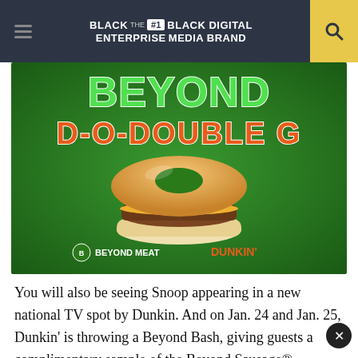BLACK ENTERPRISE — THE #1 BLACK DIGITAL MEDIA BRAND
[Figure (photo): Promotional image for Beyond Meat x Dunkin' collaboration featuring a glazed donut sandwich with Beyond Sausage patty on green background with text 'BEYOND D-O-DOUBLE G' and logos for Beyond Meat and Dunkin'.]
You will also be seeing Snoop appearing in a new national TV spot by Dunkin. And on Jan. 24 and Jan. 25, Dunkin' is throwing a Beyond Bash, giving guests a complimentary sample of the Beyond Sausage® Sandwich.
There will also be a limited-edition online pop-up shop that will debut later this month between Dunkin' and Snoop. The Beyond Collection by